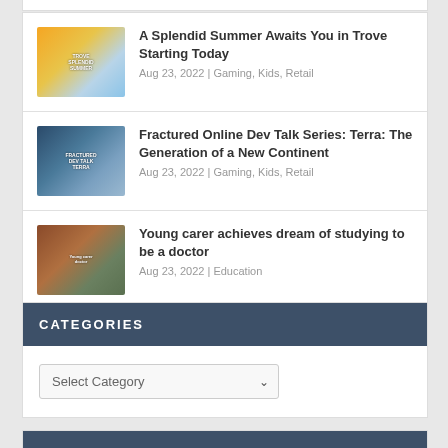A Splendid Summer Awaits You in Trove Starting Today — Aug 23, 2022 | Gaming, Kids, Retail
Fractured Online Dev Talk Series: Terra: The Generation of a New Continent — Aug 23, 2022 | Gaming, Kids, Retail
Young carer achieves dream of studying to be a doctor — Aug 23, 2022 | Education
CATEGORIES